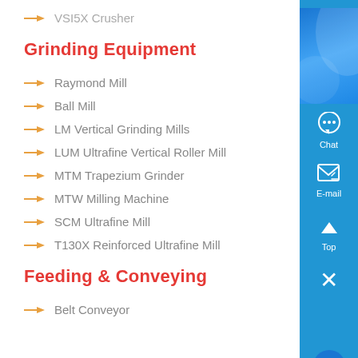VSI5X Crusher
Grinding Equipment
Raymond Mill
Ball Mill
LM Vertical Grinding Mills
LUM Ultrafine Vertical Roller Mill
MTM Trapezium Grinder
MTW Milling Machine
SCM Ultrafine Mill
T130X Reinforced Ultrafine Mill
Feeding & Conveying
Belt Conveyor